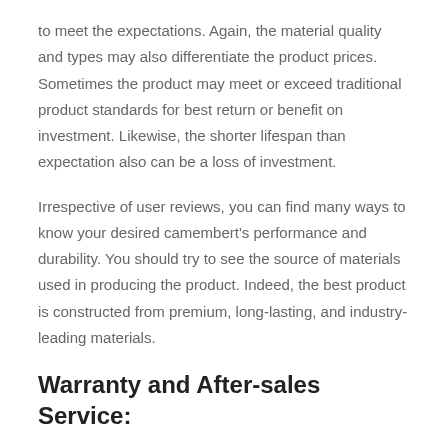to meet the expectations. Again, the material quality and types may also differentiate the product prices. Sometimes the product may meet or exceed traditional product standards for best return or benefit on investment. Likewise, the shorter lifespan than expectation also can be a loss of investment.
Irrespective of user reviews, you can find many ways to know your desired camembert's performance and durability. You should try to see the source of materials used in producing the product. Indeed, the best product is constructed from premium, long-lasting, and industry-leading materials.
Warranty and After-sales Service:
Warranty and after-sales service are very much helpful during any emergencies. We suggest you read the terms and conditions of serving the manufacturer or the seller after and before the purchase.